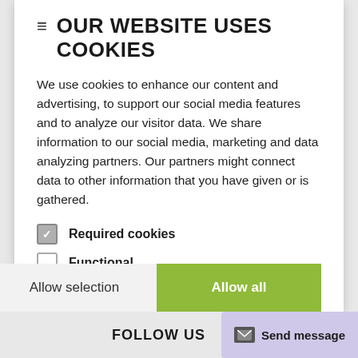OUR WEBSITE USES COOKIES
We use cookies to enhance our content and advertising, to support our social media features and to analyze our visitor data. We share information to our social media, marketing and data analyzing partners. Our partners might connect data to other information that you have given or is gathered.
Required cookies (checked)
Functional
Statistics
Marketing (Campaigns and discounts)
ⓘ Show more cookie information.
Allow selection | Allow all
FOLLOW US   Send message